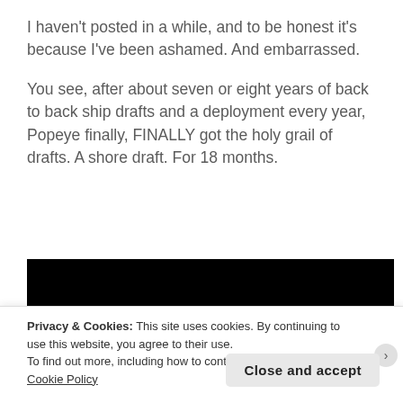I haven't posted in a while, and to be honest it's because I've been ashamed. And embarrassed.
You see, after about seven or eight years of back to back ship drafts and a deployment every year, Popeye finally, FINALLY got the holy grail of drafts. A shore draft. For 18 months.
[Figure (other): Black redacted/censored image block]
Privacy & Cookies: This site uses cookies. By continuing to use this website, you agree to their use.
To find out more, including how to control cookies, see here: Cookie Policy
Close and accept